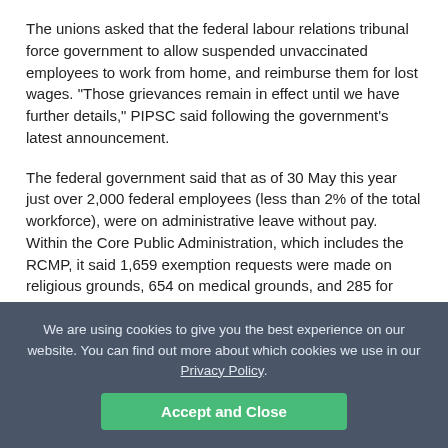The unions asked that the federal labour relations tribunal force government to allow suspended unvaccinated employees to work from home, and reimburse them for lost wages. "Those grievances remain in effect until we have further details," PIPSC said following the government's latest announcement.
The federal government said that as of 30 May this year just over 2,000 federal employees (less than 2% of the total workforce), were on administrative leave without pay. Within the Core Public Administration, which includes the RCMP, it said 1,659 exemption requests were made on religious grounds, 654 on medical grounds, and 285 for other reasons.
A Global Government Forum survey conducted at the start of this year found that Canadian public servants were split on whether they agreed or disagreed with COVID-19 vaccine mandates, with 47.6% for and 47.5% against.
We are using cookies to give you the best experience on our website. You can find out more about which cookies we use in our Privacy Policy.